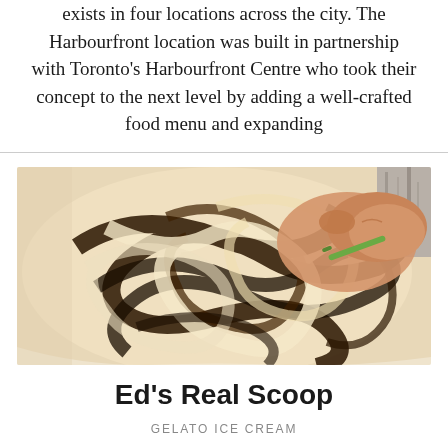exists in four locations across the city. The Harbourfront location was built in partnership with Toronto's Harbourfront Centre who took their concept to the next level by adding a well-crafted food menu and expanding
[Figure (photo): Overhead photo of a bowl of swirled chocolate and vanilla ice cream/gelato being mixed with a small green utensil by a person's hand. A granite or stone surface is visible at the top right corner.]
Ed's Real Scoop
GELATO ICE CREAM
After being one of the pioneers who worked on building packet-switching networks, a.k.a the Internet, retirement